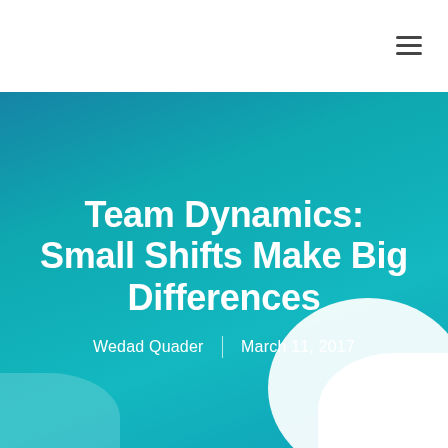Team Dynamics: Small Shifts Make Big Differences
Wedad Quader | March 11, 2017